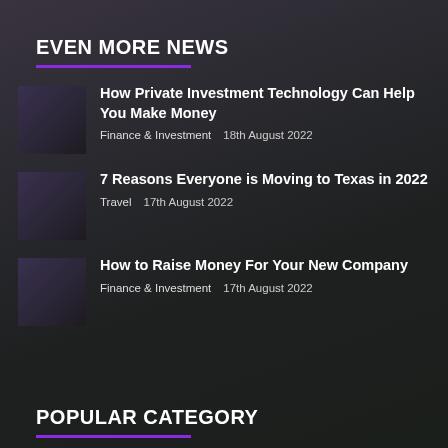EVEN MORE NEWS
How Private Investment Technology Can Help You Make Money | Finance & Investment | 18th August 2022
7 Reasons Everyone is Moving to Texas in 2022 | Travel | 17th August 2022
How to Raise Money For Your New Company | Finance & Investment | 17th August 2022
POPULAR CATEGORY